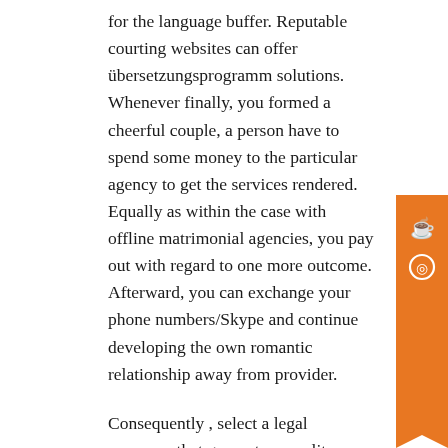for the language buffer. Reputable courting websites can offer übersetzungsprogramm solutions. Whenever finally, you formed a cheerful couple, a person have to spend some money to the particular agency to get the services rendered. Equally as within the case with offline matrimonial agencies, you pay out with regard to one more outcome. Afterward, you can exchange your phone numbers/Skype and continue developing the own romantic relationship away from provider.
Consequently , select a legal company that guarantees quality protection. Professional matrimonial services work with SSL a few. 0 protocols. Thanks to the complex powerful 128-bit code, information is securely encrypted.
More than 94% of profiles on the webpage consist of photos, profiles are detailed and a lot of of them are validated. This is usually a huge sign that one could trust this great site and look for the love below.
In addition to the content that also consider finding f...